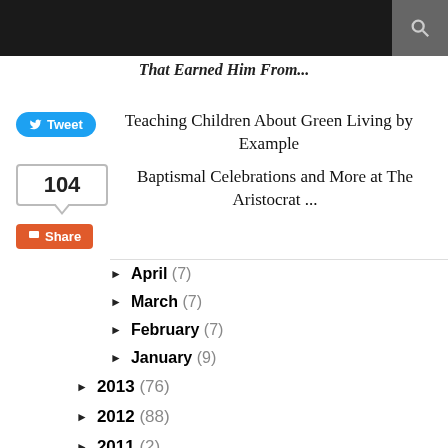Teaching Children About Green Living by Example
Baptismal Celebrations and More at The Aristocrat ...
April (7)
March (7)
February (7)
January (9)
2013 (76)
2012 (88)
2011 (2)
2010 (3)
2009 (1)